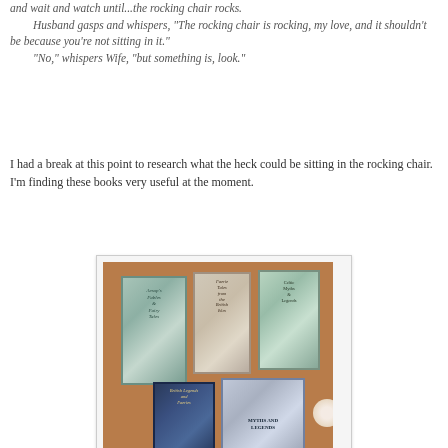and wait and watch until...the rocking chair rocks.
	Husband gasps and whispers, "The rocking chair is rocking, my love, and it shouldn't be because you're not sitting in it."
	"No," whispers Wife, "but something is, look."
I had a break at this point to research what the heck could be sitting in the rocking chair. I'm finding these books very useful at the moment.
[Figure (photo): A photograph of five books laid on a wooden table surface. Three books are arranged in a row at the top and two books in a row below. The books appear to be about folklore, fairy tales, and mythology. A lamp is partially visible at the right edge.]